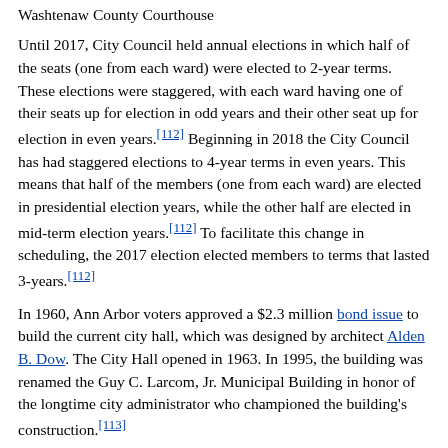Washtenaw County Courthouse
Until 2017, City Council held annual elections in which half of the seats (one from each ward) were elected to 2-year terms. These elections were staggered, with each ward having one of their seats up for election in odd years and their other seat up for election in even years.[112] Beginning in 2018 the City Council has had staggered elections to 4-year terms in even years. This means that half of the members (one from each ward) are elected in presidential election years, while the other half are elected in mid-term election years.[112] To facilitate this change in scheduling, the 2017 election elected members to terms that lasted 3-years.[112]
In 1960, Ann Arbor voters approved a $2.3 million bond issue to build the current city hall, which was designed by architect Alden B. Dow. The City Hall opened in 1963. In 1995, the building was renamed the Guy C. Larcom, Jr. Municipal Building in honor of the longtime city administrator who championed the building's construction.[113]
Ann Arbor is part of Michigan's 12th congressional district, represented in Congress by Representative Debbie Dingell, a Democrat. On the state level, the city is part of the 18th district in the Michigan Senate, represented by Democrat Rebekah Warren. In the Michigan House of Representatives, representation is split